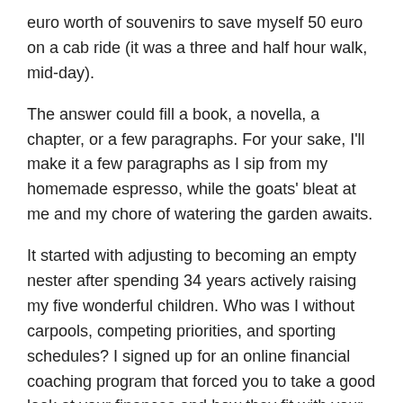euro worth of souvenirs to save myself 50 euro on a cab ride (it was a three and half hour walk, mid-day).
The answer could fill a book, a novella, a chapter, or a few paragraphs. For your sake, I'll make it a few paragraphs as I sip from my homemade espresso, while the goats' bleat at me and my chore of watering the garden awaits.
It started with adjusting to becoming an empty nester after spending 34 years actively raising my five wonderful children. Who was I without carpools, competing priorities, and sporting schedules? I signed up for an online financial coaching program that forced you to take a good look at your finances and how they fit with your dreams. It reinforced that a house can be a home, an asset, or a liability.
Then the basement flooded, and it became clear to me that my